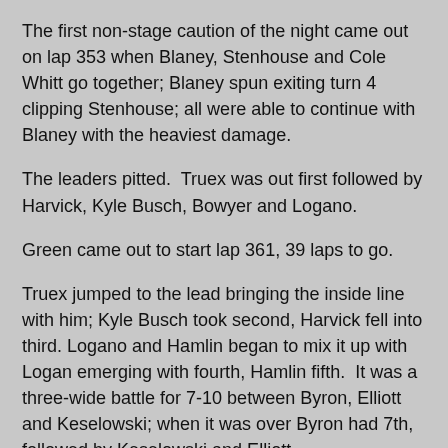The first non-stage caution of the night came out on lap 353 when Blaney, Stenhouse and Cole Whitt go together; Blaney spun exiting turn 4 clipping Stenhouse; all were able to continue with Blaney with the heaviest damage.
The leaders pitted.  Truex was out first followed by Harvick, Kyle Busch, Bowyer and Logano.
Green came out to start lap 361, 39 laps to go.
Truex jumped to the lead bringing the inside line with him; Kyle Busch took second, Harvick fell into third. Logano and Hamlin began to mix it up with Logan emerging with fourth, Hamlin fifth.  It was a three-wide battle for 7-10 between Byron, Elliott and Keselowski; when it was over Byron had 7th, followed by Keselowski and Elliott.
Newman hit the wall on lap 368 and the fourth caution came out. Newman was damaged when Jamie McMurray was squeezed into the wall by Kurt Busch; Newman got into the